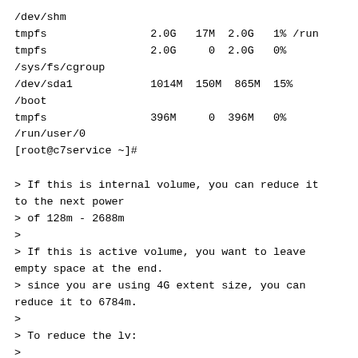/dev/shm
tmpfs                2.0G   17M  2.0G   1% /run
tmpfs                2.0G     0  2.0G   0%
/sys/fs/cgroup
/dev/sda1            1014M  150M  865M  15%
/boot
tmpfs                396M     0  396M   0%
/run/user/0
[root@c7service ~]#
> If this is internal volume, you can reduce it
to the next power
> of 128m - 2688m
>
> If this is active volume, you want to leave
empty space at the end.
> since you are using 4G extent size, you can
reduce it to 6784m.
>
> To reduce the lv:
>
> 1. Move storage domain to maintenance